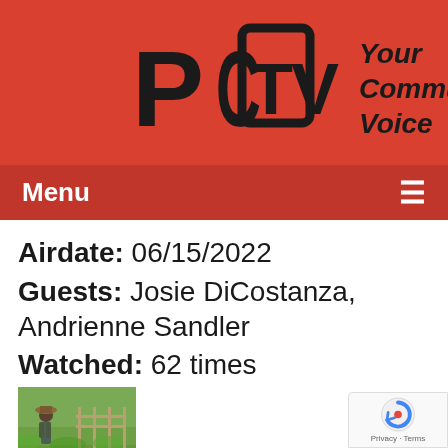[Figure (logo): PCTV logo with stylized PC inside brackets and TV text, with tagline 'Your Community Voice' in italic bold on red background]
Menu ≡
Airdate: 06/15/2022
Guests: Josie DiCostanza, Andrienne Sandler
Watched: 62 times
[Figure (photo): Thumbnail photo of a vegetable garden with a person in a hat among green plants and a fence]
Vegetable Gardening